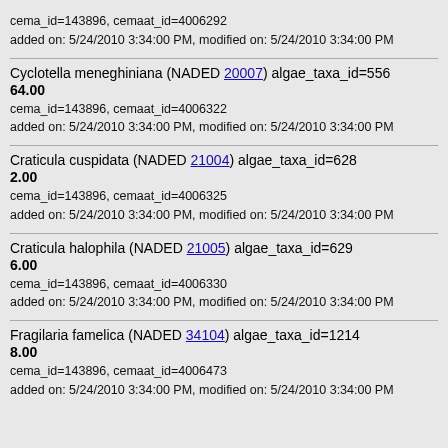cema_id=143896, cemaat_id=4006292
added on: 5/24/2010 3:34:00 PM, modified on: 5/24/2010 3:34:00 PM
Cyclotella meneghiniana (NADED 20007) algae_taxa_id=556
64.00
cema_id=143896, cemaat_id=4006322
added on: 5/24/2010 3:34:00 PM, modified on: 5/24/2010 3:34:00 PM
Craticula cuspidata (NADED 21004) algae_taxa_id=628
2.00
cema_id=143896, cemaat_id=4006325
added on: 5/24/2010 3:34:00 PM, modified on: 5/24/2010 3:34:00 PM
Craticula halophila (NADED 21005) algae_taxa_id=629
6.00
cema_id=143896, cemaat_id=4006330
added on: 5/24/2010 3:34:00 PM, modified on: 5/24/2010 3:34:00 PM
Fragilaria famelica (NADED 34104) algae_taxa_id=1214
8.00
cema_id=143896, cemaat_id=4006473
added on: 5/24/2010 3:34:00 PM, modified on: 5/24/2010 3:34:00 PM